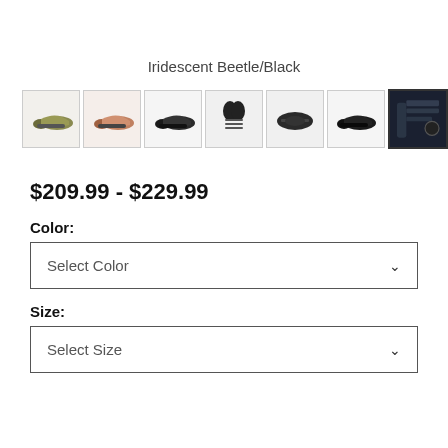Iridescent Beetle/Black
[Figure (photo): Row of 8 shoe product thumbnails showing different color/angle views of cycling shoes. First two are green/bronze colorways, next two are black/dark views, followed by bottom sole view, side view, and two close-up dark detail shots. The last two thumbnails have dark background.]
$209.99 - $229.99
Color:
Select Color
Size:
Select Size